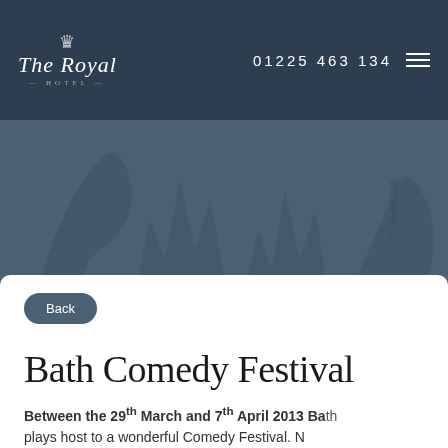The Royal Hotel — 01225 463 134
[Figure (illustration): Decorative hero banner with abstract stylized comedy/festival artwork on a dark steel-blue background]
Back
Bath Comedy Festival
Between the 29th March and 7th April 2013 Bath plays host to a wonderful Comedy Festival. Now in the fifth year the Comedy Festival has the...